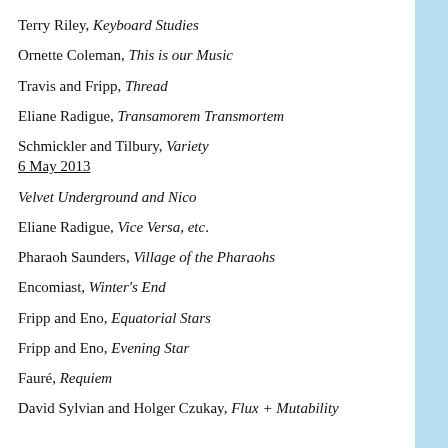Terry Riley, Keyboard Studies
Ornette Coleman, This is our Music
Travis and Fripp, Thread
Eliane Radigue, Transamorem Transmortem
Schmickler and Tilbury, Variety
6 May 2013
Velvet Underground and Nico
Eliane Radigue, Vice Versa, etc.
Pharaoh Saunders, Village of the Pharaohs
Encomiast, Winter's End
Fripp and Eno, Equatorial Stars
Fripp and Eno, Evening Star
Fauré, Requiem
David Sylvian and Holger Czukay, Flux + Mutability